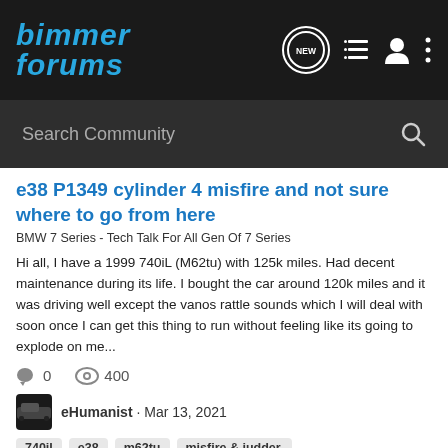Bimmer Forums
Search Community
e38 P1349 cylinder 4 misfire and not sure where to go from here
BMW 7 Series - Tech Talk For All Gen Of 7 Series
Hi all, I have a 1999 740iL (M62tu) with 125k miles. Had decent maintenance during its life. I bought the car around 120k miles and it was driving well except the vanos rattle sounds which I will deal with soon once I can get this thing to run without feeling like its going to explode on me...
0  400
eHumanist · Mar 13, 2021
740il  e38  m62tu  misfire & judder.
My father's 740iL